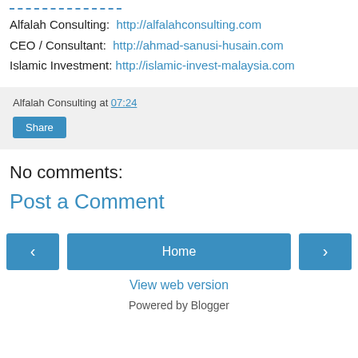Alfalah Consulting: http://alfalahconsulting.com
CEO / Consultant: http://ahmad-sanusi-husain.com
Islamic Investment: http://islamic-invest-malaysia.com
Alfalah Consulting at 07:24
Share
No comments:
Post a Comment
Home
View web version
Powered by Blogger